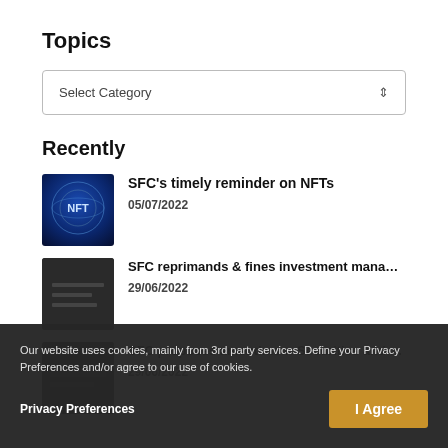Topics
Select Category
Recently
[Figure (illustration): NFT themed circular digital globe graphic with blue tones and NFT text in white]
SFC's timely reminder on NFTs
05/07/2022
[Figure (photo): Dark background photo related to investment manager article]
SFC reprimands & fines investment manager for failure managing priva...
29/06/2022
[Figure (photo): Dark background photo related to Securities and Futures article]
SFC proposes amendments to Securities and Futures O...
29/06/2022
Our website uses cookies, mainly from 3rd party services. Define your Privacy Preferences and/or agree to our use of cookies.
Privacy Preferences
I Agree